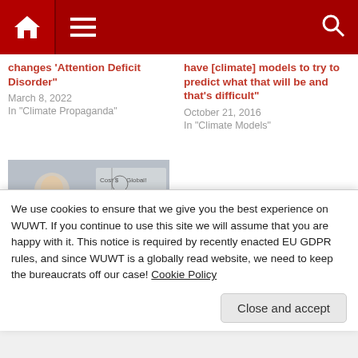Navigation bar with home, menu, and search icons
changes 'Attention Deficit Disorder'"
March 8, 2022
In "Climate Propaganda"
have [climate] models to try to predict what that will be and that's difficult"
October 21, 2016
In "Climate Models"
[Figure (photo): Man in blue shirt at whiteboard with handwritten notes about cost, false, true, global warming categories]
Claim: 'One Guy With A Marker, Just Made The
We use cookies to ensure that we give you the best experience on WUWT. If you continue to use this site we will assume that you are happy with it. This notice is required by recently enacted EU GDPR rules, and since WUWT is a globally read website, we need to keep the bureaucrats off our case! Cookie Policy
Close and accept